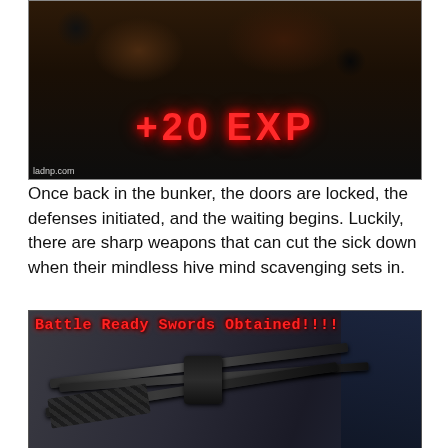[Figure (photo): Dark photograph with '+20 EXP' text overlay in red, showing a dungeon or bunker-like scene. Watermark 'ladnp.com' in lower left.]
Once back in the bunker, the doors are locked, the defenses initiated, and the waiting begins. Luckily, there are sharp weapons that can cut the sick down when their mindless hive mind scavenging sets in.
[Figure (photo): Dark photograph of multiple katana/swords mounted on a wall rack, with 'Battle Ready Swords Obtained!!!!' text overlay in red at the top.]